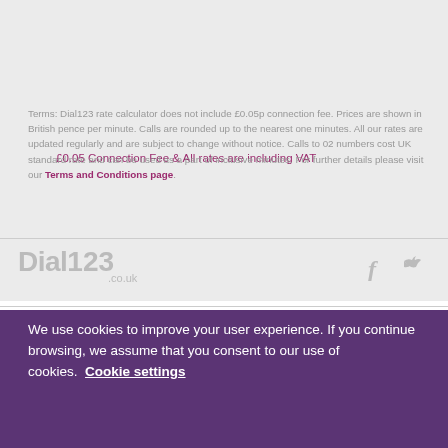£0.05 Connection Fee & All rates are including VAT
Terms: Dial123 rate calculator does not include £0.05p connection fee. Prices are shown in British pence per minute. Calls are rounded up to the nearest one minutes. All our rates are updated regularly and are subject to change without notice. Calls to 02 numbers cost UK standard rate and can be used as a part of inclusive minutes. For further details please visit our Terms and Conditions page.
[Figure (logo): Dial123.co.uk logo in grey]
[Figure (illustration): Facebook and Twitter social media icons in grey]
We use cookies to improve your user experience. If you continue browsing, we assume that you consent to our use of cookies. Cookie settings
OK